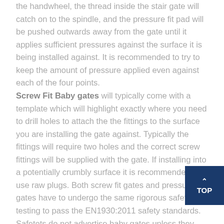the handwheel, the thread inside the stair gate will catch on to the spindle, and the pressure fit pad will be pushed outwards away from the gate until it applies sufficient pressures against the surface it is being installed against. It is recommended to try to keep the amount of pressure applied even against each of the four points. Screw Fit Baby gates will typically come with a template which will highlight exactly where you need to drill holes to attach the the fittings to the surface you are installing the gate against. Typically the fittings will require two holes and the correct screw fittings will be supplied with the gate. If installing into a potentially crumbly surface it is recommended to use raw plugs. Both screw fit gates and pressure fit gates have to undergo the same rigorous safety testing to pass the EN1930:2011 safety standards. Safetots do not advertise baby gates unless they have passed this standard.